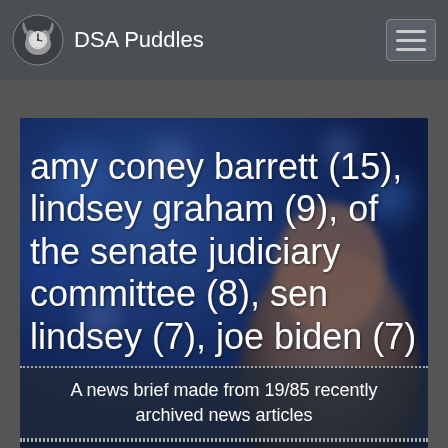DSA Puddles
[Figure (photo): Blurred background photo of a person with blue tones, overlaid with large white text listing named entities and their counts: amy coney barrett (15), lindsey graham (9), of the senate judiciary committee (8), sen lindsey (7), joe biden (7)]
A news brief made from 19/85 recently archived news articles
« Previous Story   View the StoryGraph of this Story   Next Story »